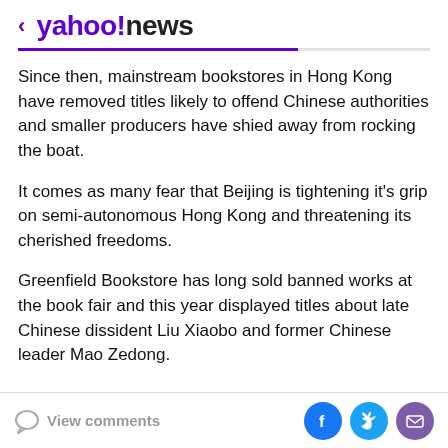< yahoo!news
Since then, mainstream bookstores in Hong Kong have removed titles likely to offend Chinese authorities and smaller producers have shied away from rocking the boat.
It comes as many fear that Beijing is tightening it's grip on semi-autonomous Hong Kong and threatening its cherished freedoms.
Greenfield Bookstore has long sold banned works at the book fair and this year displayed titles about late Chinese dissident Liu Xiaobo and former Chinese leader Mao Zedong.
View comments